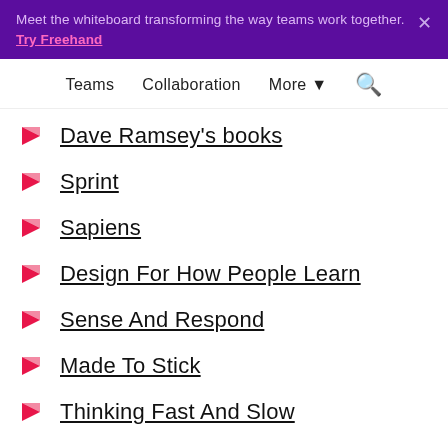Meet the whiteboard transforming the way teams work together. Try Freehand
Teams  Collaboration  More  Search
Dave Ramsey's books
Sprint
Sapiens
Design For How People Learn
Sense And Respond
Made To Stick
Thinking Fast And Slow